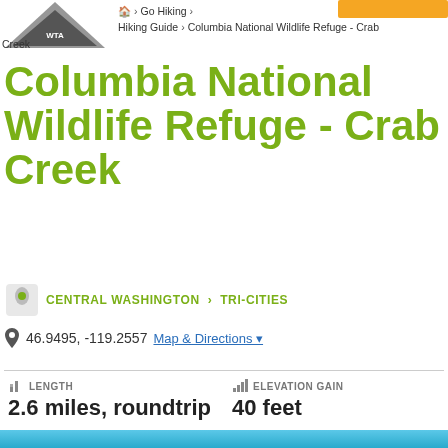🏠 > Go Hiking > Hiking Guide > Columbia National Wildlife Refuge - Crab Creek
Columbia National Wildlife Refuge - Crab Creek
CENTRAL WASHINGTON > TRI-CITIES
46.9495, -119.2557  Map & Directions
| LENGTH | ELEVATION GAIN | HIGHEST POINT | CALCULATED DIFFICULTY |
| --- | --- | --- | --- |
| 2.6 miles, roundtrip | 40 feet | 870 feet | Easy |